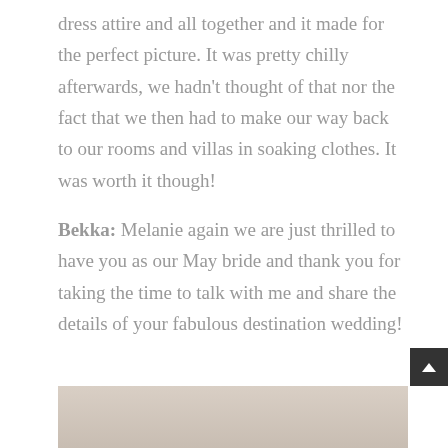dress attire and all together and it made for the perfect picture. It was pretty chilly afterwards, we hadn't thought of that nor the fact that we then had to make our way back to our rooms and villas in soaking clothes. It was worth it though!
Bekka: Melanie again we are just thrilled to have you as our May bride and thank you for taking the time to talk with me and share the details of your fabulous destination wedding!
[Figure (photo): Partial view of a photo at the bottom of the page, appears to show a person]